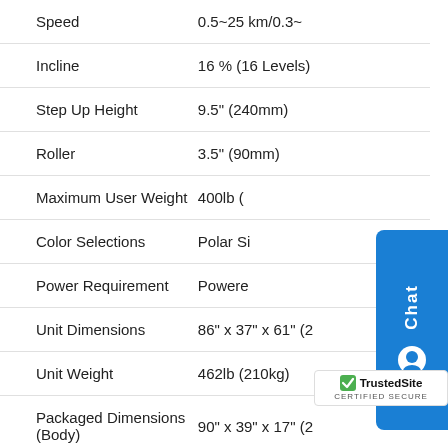| Specification | Value |
| --- | --- |
| Speed | 0.5~25 km/0.3~ |
| Incline | 16 % (16 Levels) |
| Step Up Height | 9.5" (240mm) |
| Roller | 3.5" (90mm) |
| Maximum User Weight | 400lb ( |
| Color Selections | Polar Si |
| Power Requirement | Powere |
| Unit Dimensions | 86" x 37" x 61" (2 |
| Unit Weight | 462lb (210kg) |
| Packaged Dimensions (Body) | 90" x 39" x 17" (2 |
| Packaged Dimensions (Console) | 39.4" x 31.1" x 13. |
| Packaged Weight |  |